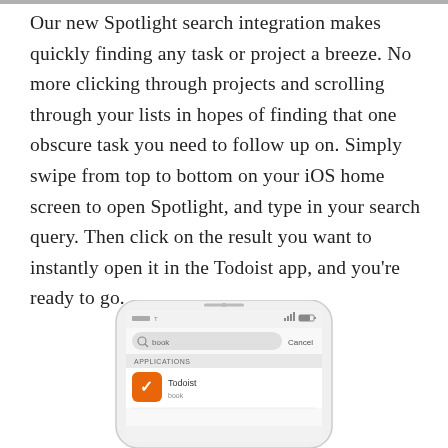Our new Spotlight search integration makes quickly finding any task or project a breeze. No more clicking through projects and scrolling through your lists in hopes of finding that one obscure task you need to follow up on. Simply swipe from top to bottom on your iOS home screen to open Spotlight, and type in your search query. Then click on the result you want to instantly open it in the Todoist app, and you're ready to go.
[Figure (screenshot): Bottom portion of an iPhone showing the Spotlight search screen with 'book' typed in the search bar and a Todoist result appearing below, with an orange icon visible.]